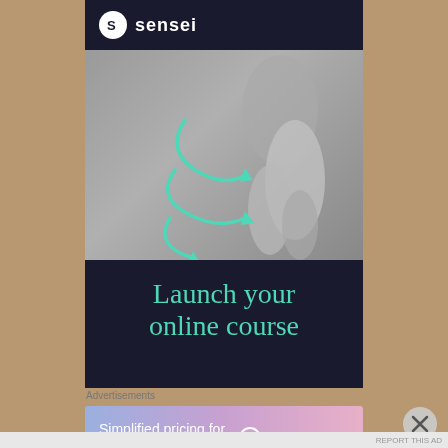[Figure (screenshot): Advertisement screenshot showing a 'sensei' branded online course platform ad. Top section has dark navy header with sensei logo (white circle with S icon and 'sensei' text). Middle section shows a grey-toned image with ballet/dance feet and teal curved arrows. Bottom dark navy section shows text 'Launch your online course' in teal serif font. Below the ad is an 'Advertisements' label and a WordPress.com banner ad with gradient background (blue to pink) reading 'Simplified pricing for everything you need.' with WordPress.com logo. A close (X) button appears at bottom right.]